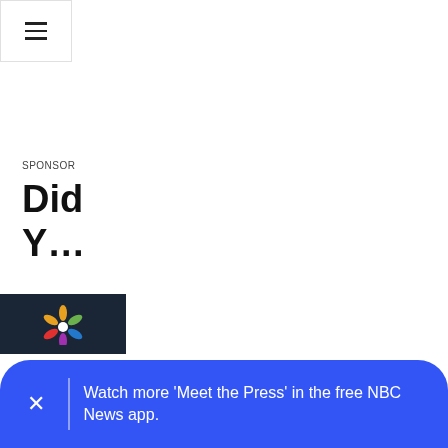[Figure (screenshot): Hamburger menu button icon (three horizontal lines) in top-left corner]
SPONSOR
Did Y…
[Figure (logo): NBC News peacock logo on dark navy background]
THIN…
Opin…
Watch more 'Meet the Press' in the free NBC News app.